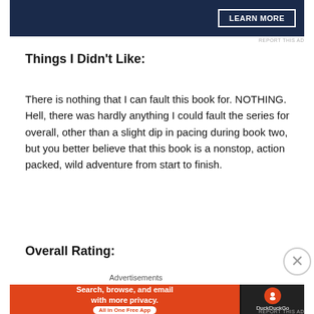[Figure (screenshot): Top advertisement banner with dark navy background and 'LEARN MORE' button in white border]
REPORT THIS AD
Things I Didn't Like:
There is nothing that I can fault this book for. NOTHING. Hell, there was hardly anything I could fault the series for overall, other than a slight dip in pacing during book two, but you better believe that this book is a nonstop, action packed, wild adventure from start to finish.
Overall Rating:
[Figure (screenshot): DuckDuckGo advertisement banner with orange left side reading 'Search, browse, and email with more privacy. All in One Free App' and dark right side with DuckDuckGo logo]
REPORT THIS AD